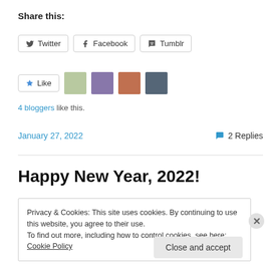Share this:
Twitter  Facebook  Tumblr
Like  [avatar images]
4 bloggers like this.
January 27, 2022   2 Replies
Happy New Year, 2022!
Privacy & Cookies: This site uses cookies. By continuing to use this website, you agree to their use.
To find out more, including how to control cookies, see here: Cookie Policy
Close and accept